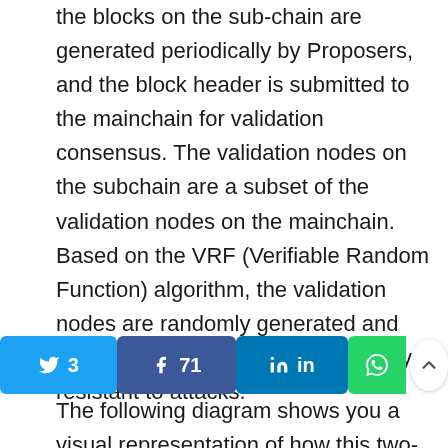the blocks on the sub-chain are generated periodically by Proposers, and the block header is submitted to the mainchain for validation consensus. The validation nodes on the subchain are a subset of the validation nodes on the mainchain. Based on the VRF (Verifiable Random Function) algorithm, the validation nodes are randomly generated and dynamically changed, and are highly resistant to attacks.
[Figure (other): Social sharing bar with Twitter (3), Facebook (71), LinkedIn, WhatsApp buttons and scroll-up arrow]
The following diagram shows you a visual representation of how this two-layer consensus mechanism works: